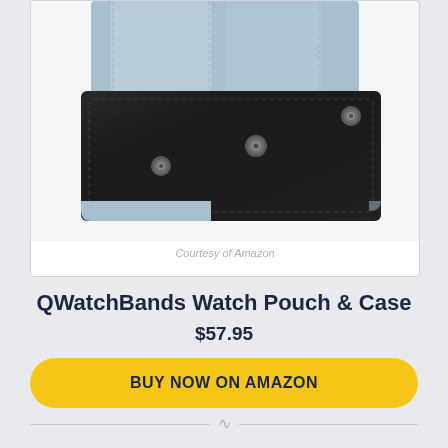[Figure (photo): A watch pouch and case product photo showing a black leather wallet/pouch with silver snap buttons and light blue fabric lining/interior visible at top. White background with 'Courtesy of Amazon' watermark text at bottom.]
Courtesy of Amazon
QWatchBands Watch Pouch & Case
$57.95
BUY NOW ON AMAZON